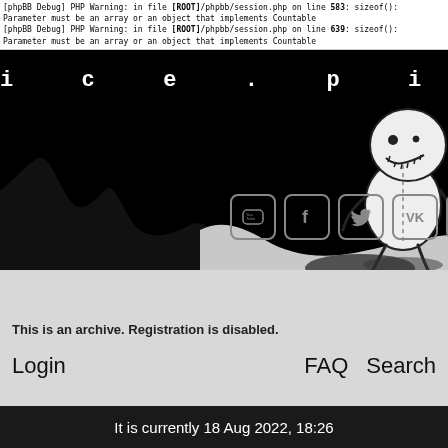[phpBB Debug] PHP Warning: in file [ROOT]/phpbb/session.php on line 583: sizeof(): Parameter must be an array or an object that implements Countable
[phpBB Debug] PHP Warning: in file [ROOT]/phpbb/session.php on line 639: sizeof(): Parameter must be an array or an object that implements Countable
[Figure (screenshot): Dark banner with text 'ice.pick.l' in spaced monospace letters, wavy terrain silhouette, and a stitched voodoo doll figure on the right. Social media icons (YouTube, Facebook, Twitter, VK, Search) below.]
This is an archive. Registration is disabled.
Login                                FAQ    Search
It is currently 18 Aug 2022, 18:26